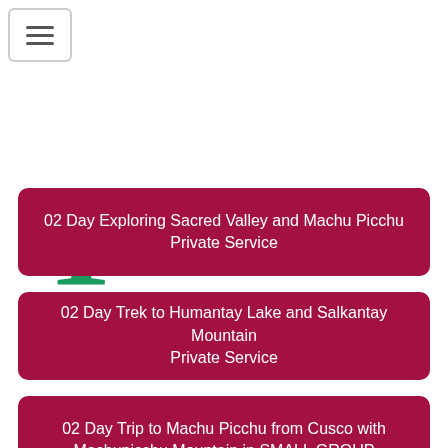[Figure (other): Navigation hamburger menu button with three horizontal lines]
T ours in Peru | more Tours in Peru | 3
02 Day Exploring Sacred Valley and Machu Picchu Private Service
02 Day Trek to Humantay Lake and Salkantay Mountain Private Service
02 Day Trip to Machu Picchu from Cusco with Machupicchu Mountain in SMALL GROUP